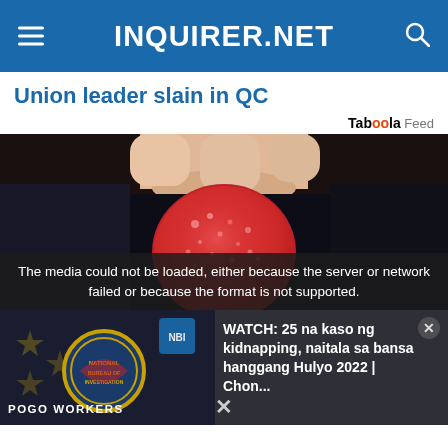INQUIRER.NET
Union leader slain in QC
Taboola Feed
[Figure (photo): Close-up photo of a hand holding a round red sugared candy gummy against a dark background]
The media could not be loaded, either because the server or network failed or because the format is not supported.
[Figure (photo): Screenshot of a news video thumbnail showing POGO Workers with a badge/seal, with text overlay: WATCH: 25 na kaso ng kidnapping, naitala sa bansa hanggang Hulyo 2022 | Chon...]